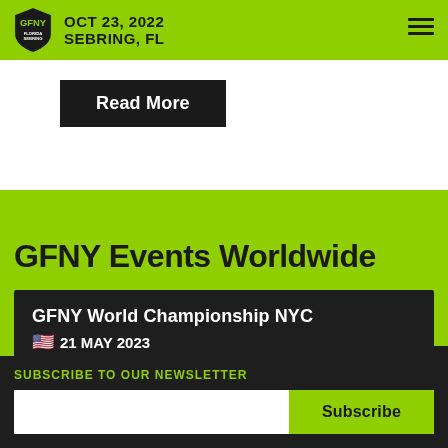OCT 23, 2022 SEBRING, FL
Read More
GFNY Events Worldwide
GFNY World Championship NYC
21 MAY 2023
GFNY Day
SUBSCRIBE TO OUR NEWSLETTER
Subscribe